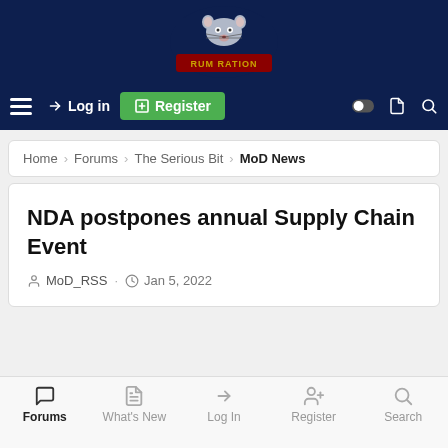[Figure (logo): Rum Ration forum logo — cartoon rat mascot with 'RUM RATION' text on a dark navy background]
☰  →) Log in  ⊞ Register  ◉  ▣  🔍
Home > Forums > The Serious Bit > MoD News
NDA postpones annual Supply Chain Event
MoD_RSS · Jan 5, 2022
Forums  What's New  Log In  Register  Search